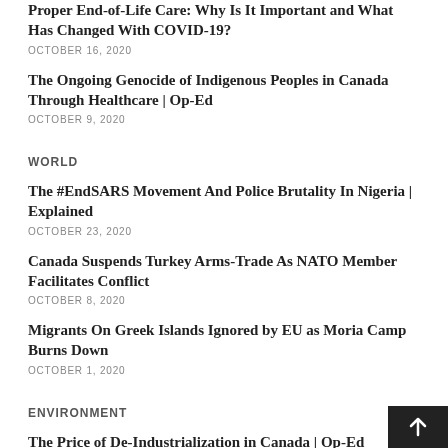Proper End-of-Life Care: Why Is It Important and What Has Changed With COVID-19?
OCTOBER 16, 2020
The Ongoing Genocide of Indigenous Peoples in Canada Through Healthcare | Op-Ed
OCTOBER 9, 2020
WORLD
The #EndSARS Movement And Police Brutality In Nigeria | Explained
OCTOBER 23, 2020
Canada Suspends Turkey Arms-Trade As NATO Member Facilitates Conflict
OCTOBER 8, 2020
Migrants On Greek Islands Ignored by EU as Moria Camp Burns Down
OCTOBER 1, 2020
ENVIRONMENT
The Price of De-Industrialization in Canada | Op-Ed
SEPTEMBER 30, 2020